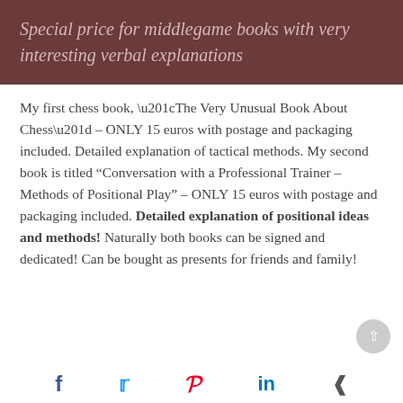Special price for middlegame books with very interesting verbal explanations
My first chess book, “The Very Unusual Book About Chess” – ONLY 15 euros with postage and packaging included. Detailed explanation of tactical methods. My second book is titled “Conversation with a Professional Trainer – Methods of Positional Play” – ONLY 15 euros with postage and packaging included. Detailed explanation of positional ideas and methods! Naturally both books can be signed and dedicated! Can be bought as presents for friends and family!